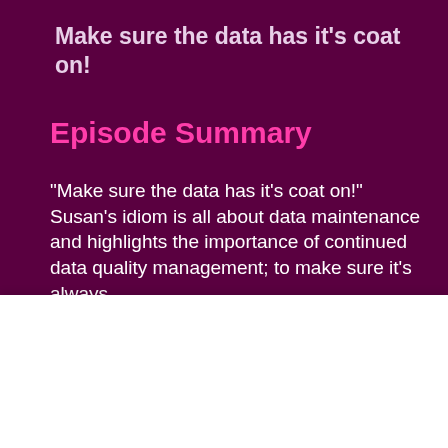Make sure the data has it’s coat on!
Episode Summary
"Make sure the data has it’s coat on!" Susan’s idiom is all about data maintenance and highlights the importance of continued data quality management; to make sure it’s always
By clicking “Accept All Cookies”, you agree to the storing of cookies on your device to enhance site navigation, analyze site usage, and assist in our marketing efforts.
Cookies Settings
Accept All Cookies